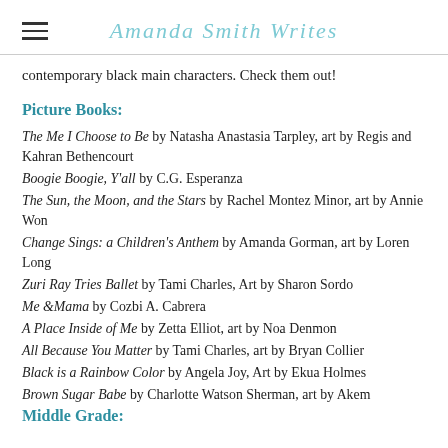Amanda Smith Writes
contemporary black main characters. Check them out!
Picture Books:
The Me I Choose to Be by Natasha Anastasia Tarpley, art by Regis and Kahran Bethencourt
Boogie Boogie, Y'all by C.G. Esperanza
The Sun, the Moon, and the Stars by Rachel Montez Minor, art by Annie Won
Change Sings: a Children's Anthem by Amanda Gorman, art by Loren Long
Zuri Ray Tries Ballet by Tami Charles, Art by Sharon Sordo
Me &Mama by Cozbi A. Cabrera
A Place Inside of Me by Zetta Elliot, art by Noa Denmon
All Because You Matter by Tami Charles, art by Bryan Collier
Black is a Rainbow Color by Angela Joy, Art by Ekua Holmes
Brown Sugar Babe by Charlotte Watson Sherman, art by Akem
Middle Grade: